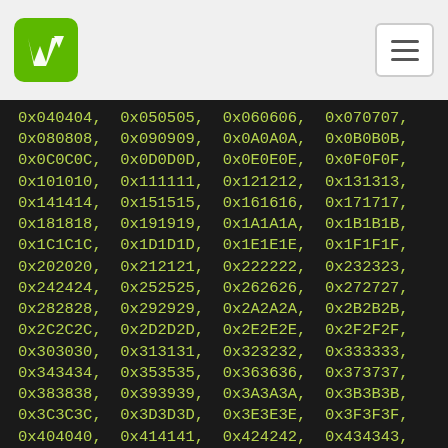WH logo and hamburger menu
0x040404, 0x050505, 0x060606, 0x070707,
0x080808, 0x090909, 0x0A0A0A, 0x0B0B0B,
0x0C0C0C, 0x0D0D0D, 0x0E0E0E, 0x0F0F0F,
0x101010, 0x111111, 0x121212, 0x131313,
0x141414, 0x151515, 0x161616, 0x171717,
0x181818, 0x191919, 0x1A1A1A, 0x1B1B1B,
0x1C1C1C, 0x1D1D1D, 0x1E1E1E, 0x1F1F1F,
0x202020, 0x212121, 0x222222, 0x232323,
0x242424, 0x252525, 0x262626, 0x272727,
0x282828, 0x292929, 0x2A2A2A, 0x2B2B2B,
0x2C2C2C, 0x2D2D2D, 0x2E2E2E, 0x2F2F2F,
0x303030, 0x313131, 0x323232, 0x333333,
0x343434, 0x353535, 0x363636, 0x373737,
0x383838, 0x393939, 0x3A3A3A, 0x3B3B3B,
0x3C3C3C, 0x3D3D3D, 0x3E3E3E, 0x3F3F3F,
0x404040, 0x414141, 0x424242, 0x434343,
0x444444, 0x454545, 0x464646, 0x474747,
0x484848, 0x494949, 0x4A4A4A, 0x4B4B4B,
0x4C4C4C, 0x4D4D4D, 0x4E4E4E, 0x4F4F4F,